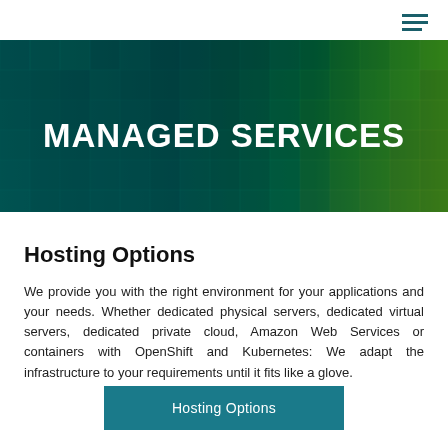[Figure (other): Hamburger menu icon with three horizontal lines in teal/dark color, top right corner]
[Figure (photo): Hero banner image: grid of digital screens/tiles with teal and green color overlay, text 'MANAGED SERVICES' overlaid in bold white uppercase letters]
Hosting Options
We provide you with the right environment for your applications and your needs. Whether dedicated physical servers, dedicated virtual servers, dedicated private cloud, Amazon Web Services or containers with OpenShift and Kubernetes: We adapt the infrastructure to your requirements until it fits like a glove.
Hosting Options